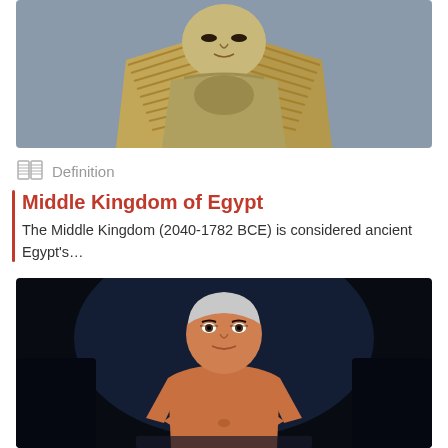[Figure (photo): Photograph of an ancient Egyptian sphinx statue with golden headdress, showing the face and upper torso against a gray background]
Definition
Middle Kingdom of Egypt
The Middle Kingdom (2040-1782 BCE) is considered ancient Egypt's…
[Figure (photo): Photograph of an ancient Egyptian painted wooden statue of a seated figure with white hair/cap, shown against a dark background]